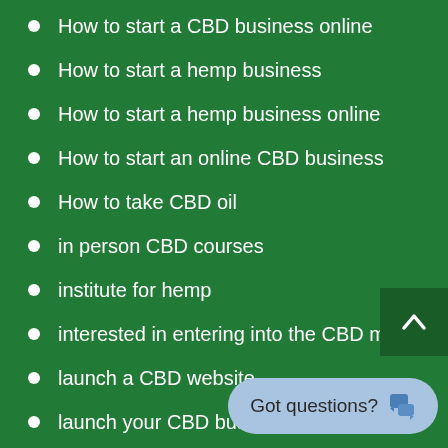How to start a CBD business online
How to start a hemp business
How to start a hemp business online
How to start an online CBD business
How to take CBD oil
in person CBD courses
institute for hemp
interested in entering into the CBD market
launch a CBD website
launch your CBD business online
learn CBD business online
legal CBD business
legal CBD industry
legality business opportunities
Legally Sell cbd